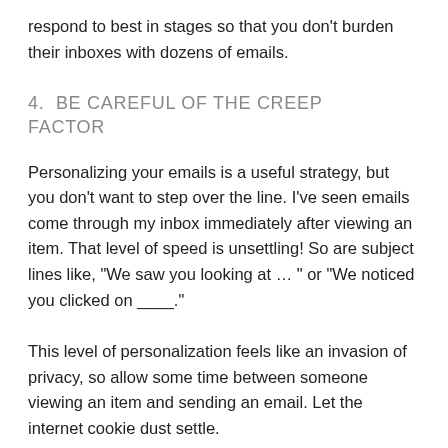respond to best in stages so that you don't burden their inboxes with dozens of emails.
4. BE CAREFUL OF THE CREEP FACTOR
Personalizing your emails is a useful strategy, but you don't want to step over the line. I've seen emails come through my inbox immediately after viewing an item. That level of speed is unsettling! So are subject lines like, “We saw you looking at …” or “We noticed you clicked on ____.”
This level of personalization feels like an invasion of privacy, so allow some time between someone viewing an item and sending an email. Let the internet cookie dust settle.